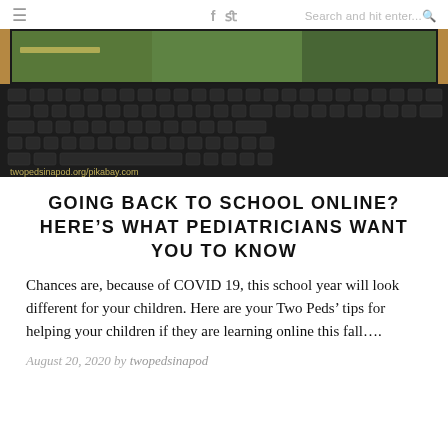≡  f  twitter  Search and hit enter...🔍
[Figure (photo): Close-up photo of a black laptop keyboard on a wooden desk surface, with a colorful screen visible in the background. Watermark text reads twopedsinapod.org/pikabay.com]
GOING BACK TO SCHOOL ONLINE? HERE'S WHAT PEDIATRICIANS WANT YOU TO KNOW
Chances are, because of COVID 19, this school year will look different for your children. Here are your Two Peds' tips for helping your children if they are learning online this fall….
August 20, 2020 by twopedsinapod